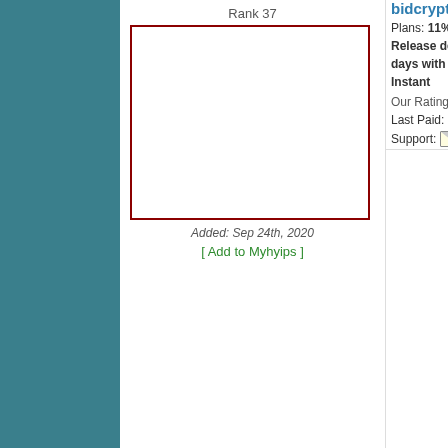Rank 37
[Figure (photo): Logo image placeholder for bidcrypt with dark red border]
Added: Sep 24th, 2020
[ Add to Myhyips ]
bidcrypt
Plans: 11% daily for... Release deposit any... days with 5% fee W... Instant
Our Rating:
Last Paid: No Payou...
Support: |
» Program Details    Investment: --- ♦ P
Allmonitors.net
Rank 38
[Figure (photo): Logo image placeholder for hourbitgo with dark red border]
Added: Oct 21st, 2020
hourbitgo
Plans: 1.17% HOUR... HOURS, 5.5% HOUR... HOURS, 12%-20% H... 20 HOURS, 900% AF... 2000% AFTER 15 DA...
Our Rating:
Last Paid: No Payou...